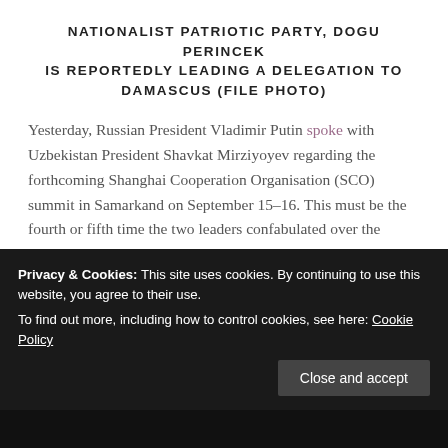NATIONALIST PATRIOTIC PARTY, DOGU PERINCEK IS REPORTEDLY LEADING A DELEGATION TO DAMASCUS (FILE PHOTO)
Yesterday, Russian President Vladimir Putin spoke with Uzbekistan President Shavkat Mirziyoyev regarding the forthcoming Shanghai Cooperation Organisation (SCO) summit in Samarkand on September 15-16. This must be the fourth or fifth time the two leaders confabulated over the upcoming event. One lost count!
Continue reading →
SHARE THIS:
Privacy & Cookies: This site uses cookies. By continuing to use this website, you agree to their use.
To find out more, including how to control cookies, see here: Cookie Policy